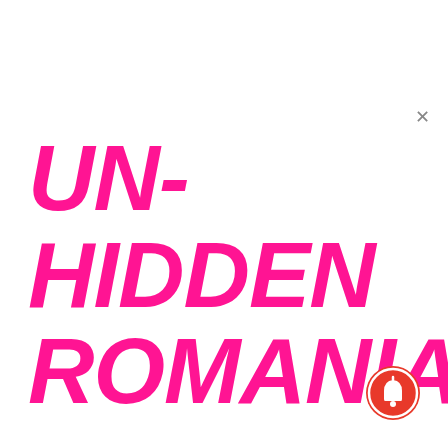UN-HIDDEN ROMANIA
[Figure (illustration): Close button (×) in top-right corner of a modal/popup UI element]
[Figure (illustration): Red circular notification bell button in bottom-right corner]